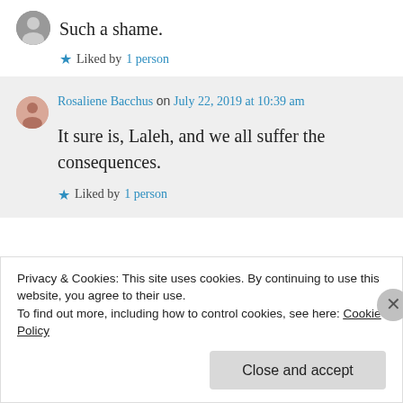Such a shame.
Liked by 1 person
Rosaliene Bacchus on July 22, 2019 at 10:39 am
It sure is, Laleh, and we all suffer the consequences.
Liked by 1 person
Privacy & Cookies: This site uses cookies. By continuing to use this website, you agree to their use.
To find out more, including how to control cookies, see here: Cookie Policy
Close and accept